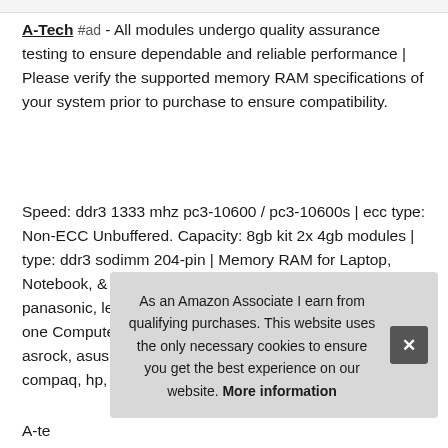A-Tech #ad - All modules undergo quality assurance testing to ensure dependable and reliable performance | Please verify the supported memory RAM specifications of your system prior to purchase to ensure compatibility.
Speed: ddr3 1333 mhz pc3-10600 / pc3-10600s | ecc type: Non-ECC Unbuffered. Capacity: 8gb kit 2x 4gb modules | type: ddr3 sodimm 204-pin | Memory RAM for Laptop, Notebook, & AIO Computers. Designed for select laptop, panasonic, lenovo, msi, qnap, notebook, alienware, & all in one Computers not limited to Acer, Dell, gigabyte, Intel, asrock, asus, lg, fujitsu, sony, Samsung, gateway, dFI, hp compaq, hp, Supermicro, App
As an Amazon Associate I earn from qualifying purchases. This website uses the only necessary cookies to ensure you get the best experience on our website. More information
A-te...